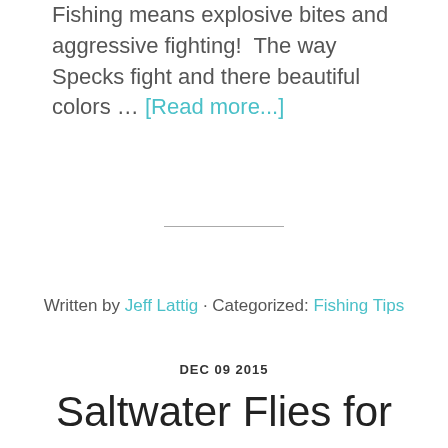Fishing means explosive bites and aggressive fighting!  The way Specks fight and there beautiful colors … [Read more...]
Written by Jeff Lattig · Categorized: Fishing Tips
DEC 09 2015
Saltwater Flies for Redfish